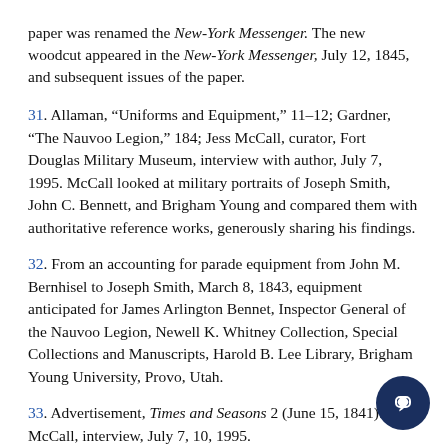paper was renamed the New-York Messenger. The new woodcut appeared in the New-York Messenger, July 12, 1845, and subsequent issues of the paper.
31. Allaman, “Uniforms and Equipment,” 11–12; Gardner, “The Nauvoo Legion,” 184; Jess McCall, curator, Fort Douglas Military Museum, interview with author, July 7, 1995. McCall looked at military portraits of Joseph Smith, John C. Bennett, and Brigham Young and compared them with authoritative reference works, generously sharing his findings.
32. From an accounting for parade equipment from John M. Bernhisel to Joseph Smith, March 8, 1843, equipment anticipated for James Arlington Bennet, Inspector General of the Nauvoo Legion, Newell K. Whitney Collection, Special Collections and Manuscripts, Harold B. Lee Library, Brigham Young University, Provo, Utah.
33. Advertisement, Times and Seasons 2 (June 15, 1841): 454; McCall, interview, July 7, 10, 1995.
34. McCall, interview, July 13, 1995.
35. McCall, interview, July 13, 1995.